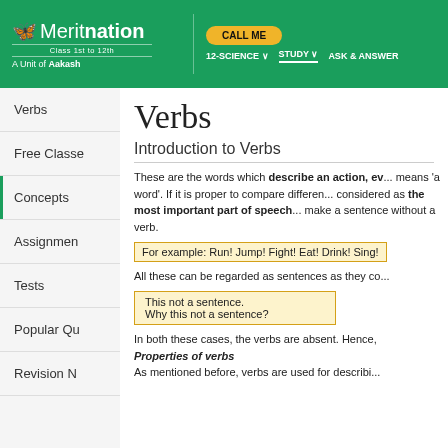Meritnation — Class 1st to 12th — A Unit of Aakash | CALL ME | 12-SCIENCE | STUDY | ASK & ANSWER
Verbs
Free Classes
Concepts
Assignments
Tests
Popular Qu
Revision N
Verbs
Introduction to Verbs
These are the words which describe an action, ev... means 'a word'. If it is proper to compare different... considered as the most important part of speech... make a sentence without a verb.
For example: Run! Jump! Fight! Eat! Drink! Sing!
All these can be regarded as sentences as they co...
This not a sentence.
Why this not a sentence?
In both these cases, the verbs are absent. Hence,
Properties of verbs
As mentioned before, verbs are used for describing...